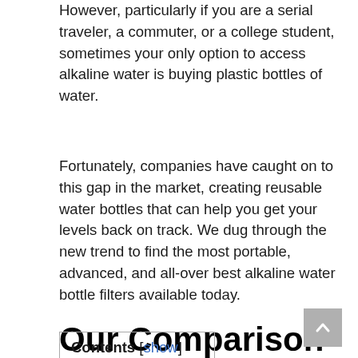However, particularly if you are a serial traveler, a commuter, or a college student, sometimes your only option to access alkaline water is buying plastic bottles of water.
Fortunately, companies have caught on to this gap in the market, creating reusable water bottles that can help you get your levels back on track. We dug through the new trend to find the most portable, advanced, and all-over best alkaline water bottle filters available today.
Contents [show]
Our Comparison